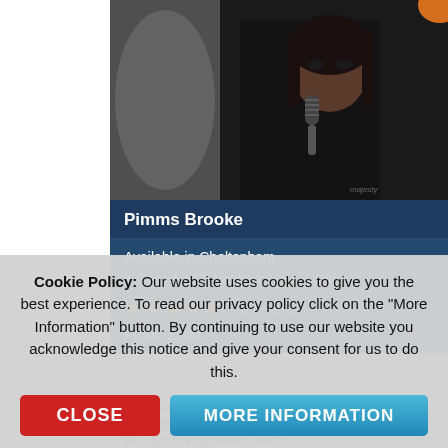[Figure (photo): Black and white photo of female singer/performer with microphone, dark moody lighting, watermark visible]
Pimms Brooke
Available in Cheltenham
Based in: Tottenham Hale, London
★★★★★ (no reviews)
From: £200
I'm a singer songwriter from London, I'm an eclectic singer, I perform original music as well as...Soul, Pop, R&b, Jazz
Cookie Policy: Our website uses cookies to give you the best experience. To read our privacy policy click on the "More Information" button. By continuing to use our website you acknowledge this notice and give your consent for us to do this.
CLOSE
MORE INFORMATION